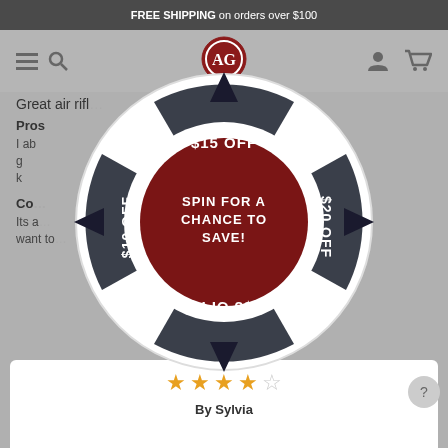FREE SHIPPING on orders over $100
[Figure (screenshot): Website navigation bar with hamburger menu, search icon, AG logo, user icon, and cart icon on grey background]
Great air rifl...
Pros
I ab... g... k...
Co...
Its a... want to...
[Figure (infographic): Spin wheel promotional popup with four segments showing $15 OFF (top), $20 OFF (right), $5 OFF (bottom, upside-down), $10 OFF (left), and center dark red circle with text SPIN FOR A CHANCE TO SAVE!]
[Figure (other): Review card with 3.5 out of 5 stars rating and By Sylvia byline]